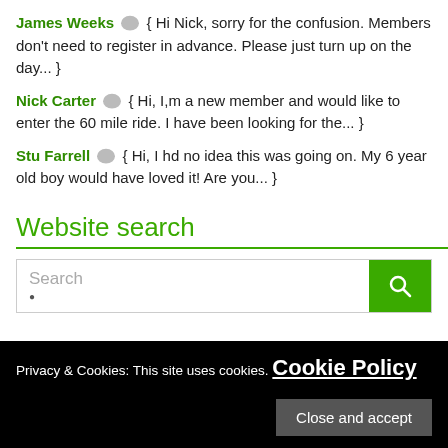James Weeks { Hi Nick, sorry for the confusion. Members don't need to register in advance. Please just turn up on the day... }
Nick Carter { Hi, I,m a new member and would like to enter the 60 mile ride. I have been looking for the... }
Stu Farrell { Hi, I hd no idea this was going on. My 6 year old boy would have loved it! Are you... }
Website search
[Figure (other): Search box with text input placeholder 'Search' and a green search button with magnifying glass icon]
Privacy & Cookies: This site uses cookies. Cookie Policy  Close and accept